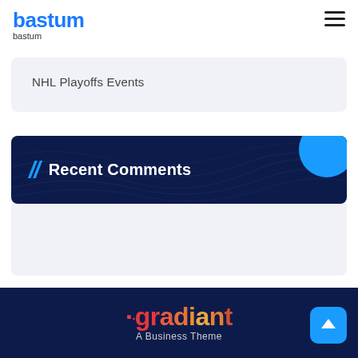[Figure (logo): bastum logo in blue bold text with smaller 'bastum' text below]
NHL Playoffs Events
// Recent Comments
[Figure (logo): gradiant A Business Theme logo in footer on dark navy background]
gradiant A Business Theme